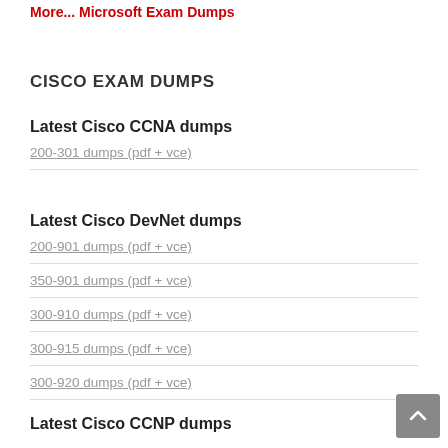More... Microsoft Exam Dumps
CISCO EXAM DUMPS
Latest Cisco CCNA dumps
200-301 dumps (pdf + vce)
Latest Cisco DevNet dumps
200-901 dumps (pdf + vce)
350-901 dumps (pdf + vce)
300-910 dumps (pdf + vce)
300-915 dumps (pdf + vce)
300-920 dumps (pdf + vce)
Latest Cisco CCNP dumps